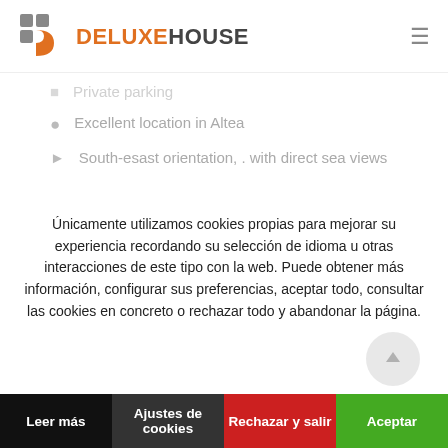[Figure (logo): Deluxe House logo with stylized 'D' icon in gray and orange, followed by 'DELUXE' in orange and 'HOUSE' in dark gray text]
Private parking
Excellent location in Altea
South-esast orientation, . with direct sea views
Únicamente utilizamos cookies propias para mejorar su experiencia recordando su selección de idioma u otras interacciones de este tipo con la web. Puede obtener más información, configurar sus preferencias, aceptar todo, consultar las cookies en concreto o rechazar todo y abandonar la página.
Leer más | Ajustes de cookies | Rechazar y salir | Aceptar